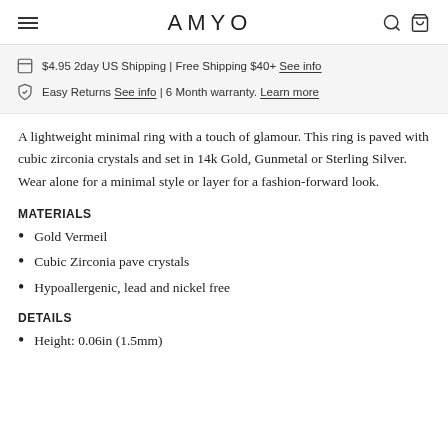AMYO
$4.95 2day US Shipping | Free Shipping $40+ See info
Easy Returns See info | 6 Month warranty. Learn more
A lightweight minimal ring with a touch of glamour. This ring is paved with cubic zirconia crystals and set in 14k Gold, Gunmetal or Sterling Silver. Wear alone for a minimal style or layer for a fashion-forward look.
MATERIALS
Gold Vermeil
Cubic Zirconia pave crystals
Hypoallergenic, lead and nickel free
DETAILS
Height: 0.06in (1.5mm)